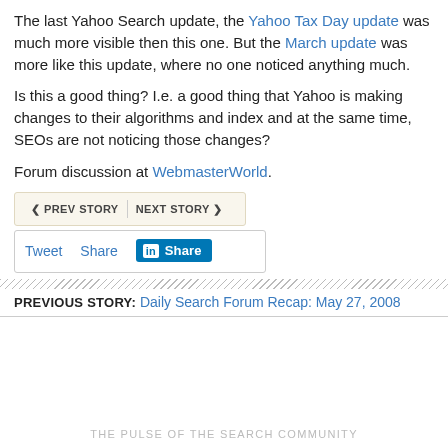The last Yahoo Search update, the Yahoo Tax Day update was much more visible then this one. But the March update was more like this update, where no one noticed anything much.
Is this a good thing? I.e. a good thing that Yahoo is making changes to their algorithms and index and at the same time, SEOs are not noticing those changes?
Forum discussion at WebmasterWorld.
[Figure (other): Navigation buttons: PREV STORY and NEXT STORY with arrows]
[Figure (other): Social sharing buttons: Tweet, Share, LinkedIn Share]
PREVIOUS STORY: Daily Search Forum Recap: May 27, 2008
THE PULSE OF THE SEARCH COMMUNITY